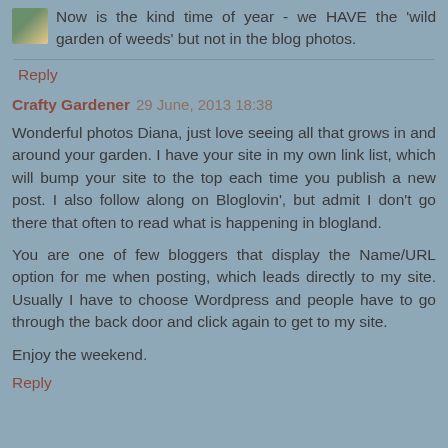Now is the kind time of year - we HAVE the 'wild garden of weeds' but not in the blog photos.
Reply
Crafty Gardener 29 June, 2013 18:38
Wonderful photos Diana, just love seeing all that grows in and around your garden. I have your site in my own link list, which will bump your site to the top each time you publish a new post. I also follow along on Bloglovin', but admit I don't go there that often to read what is happening in blogland.
You are one of few bloggers that display the Name/URL option for me when posting, which leads directly to my site. Usually I have to choose Wordpress and people have to go through the back door and click again to get to my site.
Enjoy the weekend.
Reply